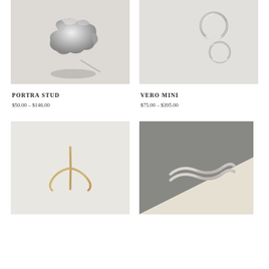[Figure (photo): Portra Stud - crumpled silver metallic jewelry piece on light gray background]
[Figure (photo): Vero Mini - two small silver hoop earrings on light gray background]
PORTRA STUD
$50.00 – $146.00
VERO MINI
$75.00 – $395.00
[Figure (photo): Silver ear cuff or threader earring shaped like an abstract branch on off-white background]
[Figure (photo): Silver wavy double band ring on split gray and cream background]